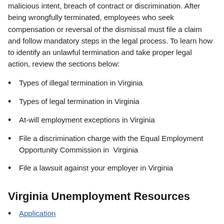malicious intent, breach of contract or discrimination. After being wrongfully terminated, employees who seek compensation or reversal of the dismissal must file a claim and follow mandatory steps in the legal process. To learn how to identify an unlawful termination and take proper legal action, review the sections below:
Types of illegal termination in Virginia
Types of legal termination in Virginia
At-will employment exceptions in Virginia
File a discrimination charge with the Equal Employment Opportunity Commission in  Virginia
File a lawsuit against your employer in Virginia
Virginia Unemployment Resources
Application